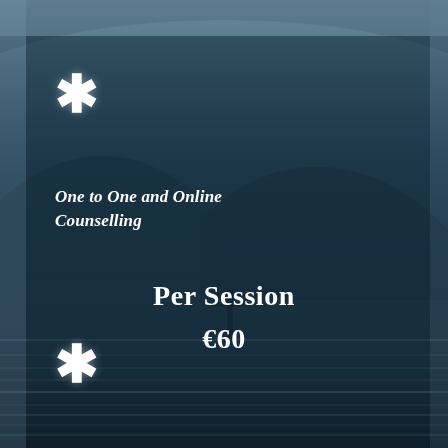[Figure (photo): Dark teal/blue-grey background photo of a misty landscape with mountains and water, overlaid with semi-transparent panels and horizontal bands]
One to One and Online Counselling
Per Session
€60